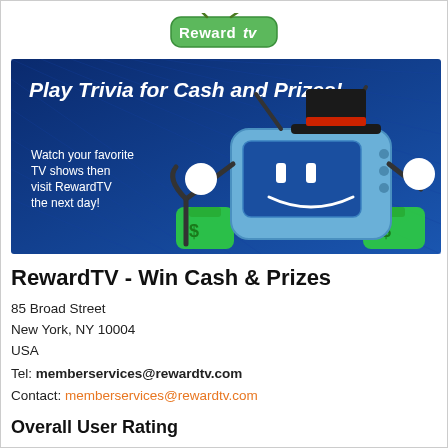[Figure (logo): RewardTV logo — green pill-shaped background with white text 'Reward' and stylized 'tv' letters with small green antenna shapes on top]
[Figure (illustration): Blue banner advertisement for RewardTV showing a cartoon TV character with a top hat, cane, and money bags. Text reads 'Play Trivia for Cash and Prizes!' and 'Watch your favorite TV shows then visit RewardTV the next day!' on a blue gradient background.]
RewardTV - Win Cash & Prizes
85 Broad Street
New York, NY 10004
USA
Tel: memberservices@rewardtv.com
Contact: memberservices@rewardtv.com
Overall User Rating